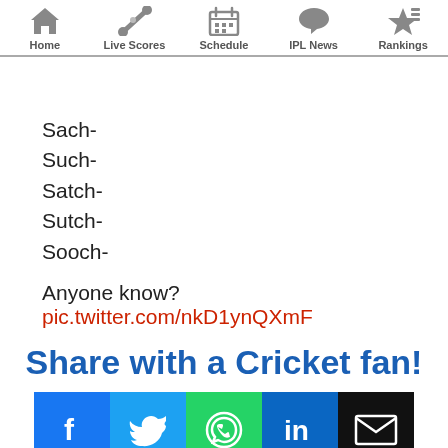Home | Live Scores | Schedule | IPL News | Rankings
Sach-
Such-
Satch-
Sutch-
Sooch-
Anyone know?
pic.twitter.com/nkD1ynQXmF
Share with a Cricket fan!
[Figure (infographic): Social share buttons: Facebook, Twitter, WhatsApp, LinkedIn, Email]